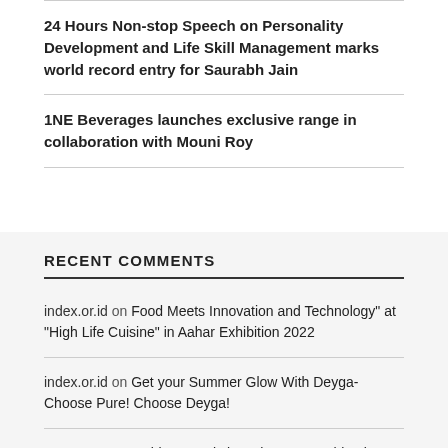24 Hours Non-stop Speech on Personality Development and Life Skill Management marks world record entry for Saurabh Jain
1NE Beverages launches exclusive range in collaboration with Mouni Roy
RECENT COMMENTS
index.or.id on Food Meets Innovation and Technology” at “High Life Cuisine” in Aahar Exhibition 2022
index.or.id on Get your Summer Glow With Deyga- Choose Pure! Choose Deyga!
Anonymous on Sirius Jewels launch 100% cashback